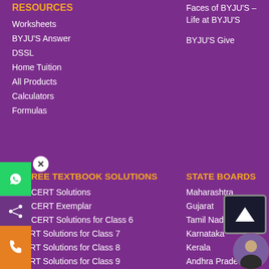RESOURCES
Worksheets
BYJU'S Answer
DSSL
Home Tuition
All Products
Calculators
Formulas
Faces of BYJU'S – Life at BYJU'S
BYJU'S Give
FREE TEXTBOOK SOLUTIONS
NCERT Solutions
NCERT Exemplar
NCERT Solutions for Class 6
NCERT Solutions for Class 7
NCERT Solutions for Class 8
NCERT Solutions for Class 9
NCERT Solutions for Class 10
STATE BOARDS
Maharashtra
Gujarat
Tamil Nadu
Karnataka
Kerala
Andhra Pradesh
Telangana